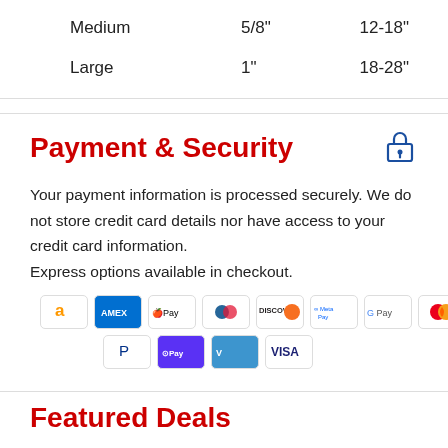| Medium | 5/8" | 12-18" |
| Large | 1" | 18-28" |
Payment & Security
Your payment information is processed securely. We do not store credit card details nor have access to your credit card information.
Express options available in checkout.
[Figure (other): Payment method icons: Amazon, Amex, Apple Pay, Diners Club, Discover, Meta Pay, Google Pay, Mastercard, PayPal, Shop Pay, Venmo, Visa]
Featured Deals